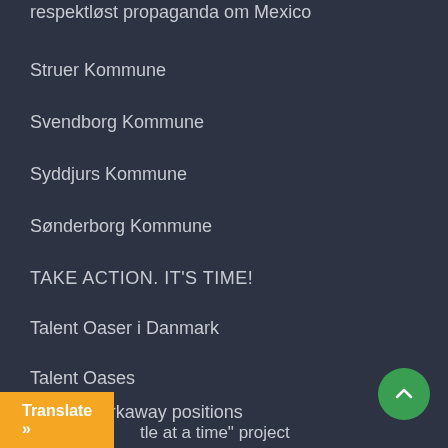respektløst propaganda om Mexico
Struer Kommune
Svendborg Kommune
Syddjurs Kommune
Sønderborg Kommune
TAKE ACTION. IT'S TIME!
Talent Oaser i Danmark
Talent Oases
Talent Workaway positions
Tårnby Kommune
le at a time" project
Translate »